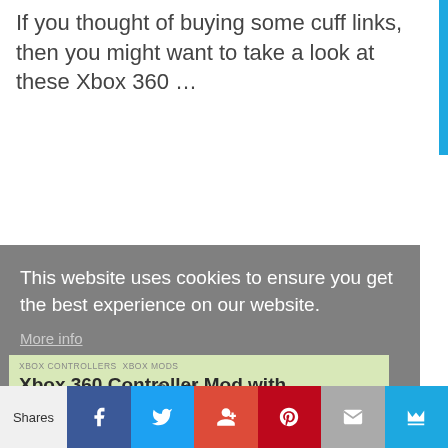If you thought of buying some cuff links, then you might want to take a look at these Xbox 360 …
This website uses cookies to ensure you get the best experience on our website. More info
XBOX CONTROLLERS  XBOX MODS
Xbox 360 Controller Mod with
Got it!
Shares